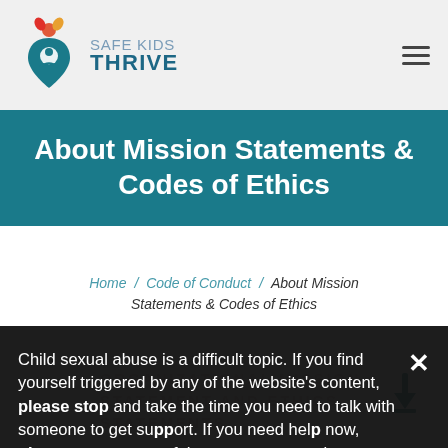SAFE KIDS THRIVE
About Mission Statements & Codes of Ethics
Home / Code of Conduct / About Mission Statements & Codes of Ethics
Child sexual abuse is a difficult topic. If you find yourself triggered by any of the website's content, please stop and take the time you need to talk with someone to get support. If you need help now, please contact one of these resources today.
ORGANIZATIONAL MISSION STATEMENT AND ETHICS STATEMENTS